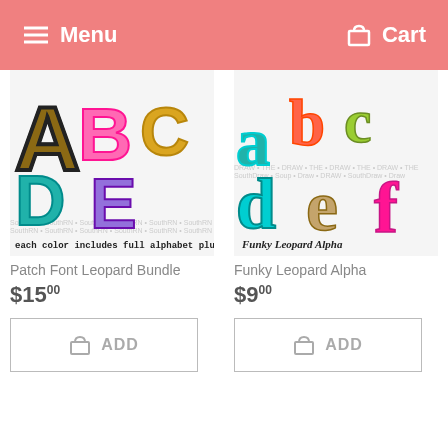Menu  Cart
[Figure (illustration): Colorful leopard print patch font letters A, B, C, D, E with text 'each color includes full alphabet plus 4 designs']
Patch Font Leopard Bundle
$15.00
[Figure (illustration): Funky colorful leopard print alphabet letters a, b, c, d, e, f with text 'Funky Leopard Alpha']
Funky Leopard Alpha
$9.00